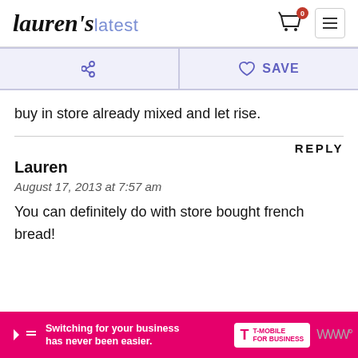Lauren's latest
buy in store already mixed and let rise.
REPLY
Lauren
August 17, 2013 at 7:57 am
You can definitely do with store bought french bread!
[Figure (screenshot): T-Mobile for Business advertisement banner: 'Switching for your business has never been easier.']